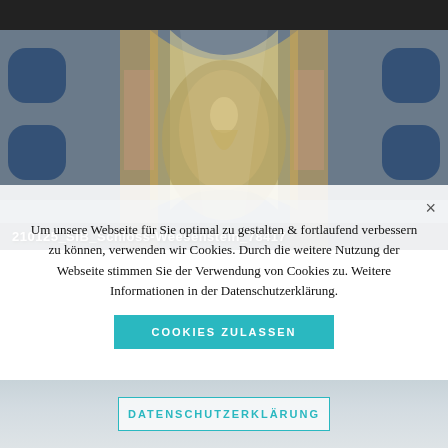[Figure (photo): Interior of Schloss Weesenstein chapel/hall showing ornate baroque ceiling with fresco painting, arched windows with blue sky, golden and reddish architectural details, with filename label overlaid]
210125_SIB_Schloss-Weesenstein_78417
Um unsere Webseite für Sie optimal zu gestalten & fortlaufend verbessern zu können, verwenden wir Cookies. Durch die weitere Nutzung der Webseite stimmen Sie der Verwendung von Cookies zu. Weitere Informationen in der Datenschutzerklärung.
COOKIES ZULASSEN
DATENSCHUTZERKLÄRUNG